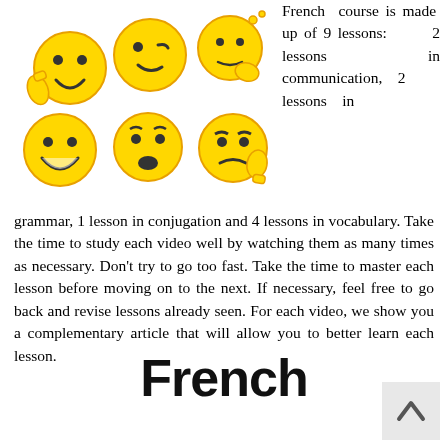[Figure (illustration): Six yellow emoji smiley faces with various expressions: happy with thumbs up, winking/smirking, thinking/pondering, surprised/shocked, grumpy/angry with thumbs down, and a pointing/gesturing emoji.]
French course is made up of 9 lessons: 2 lessons in communication, 2 lessons in grammar, 1 lesson in conjugation and 4 lessons in vocabulary. Take the time to study each video well by watching them as many times as necessary. Don't try to go too fast. Take the time to master each lesson before moving on to the next. If necessary, feel free to go back and revise lessons already seen. For each video, we show you a complementary article that will allow you to better learn each lesson.
French